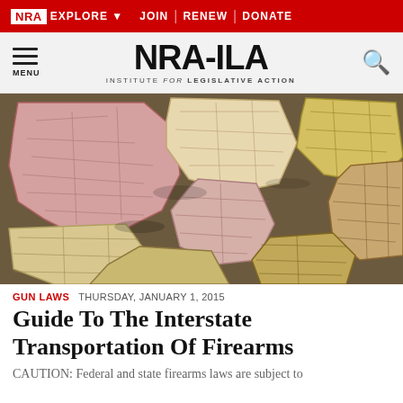NRA EXPLORE ▼   JOIN | RENEW | DONATE
NRA-ILA INSTITUTE for LEGISLATIVE ACTION
[Figure (photo): Overhead view of wooden puzzle pieces shaped like U.S. states covered with vintage map patterns in pink, yellow, and tan tones piled on top of each other.]
GUN LAWS   THURSDAY, JANUARY 1, 2015
Guide To The Interstate Transportation Of Firearms
CAUTION: Federal and state firearms laws are subject to